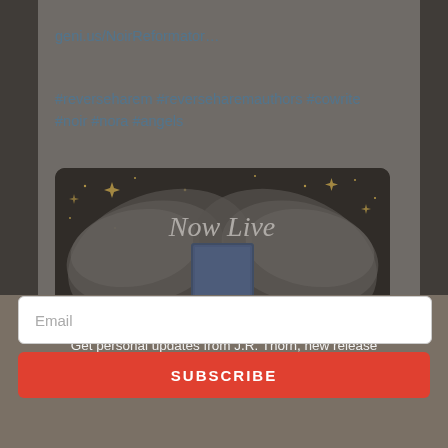geni.us/NoirReformator…
#reverseharem #reverseharemauthors #cowrite #noir #nora #angels
[Figure (photo): Book promotional image showing 'Now Live' text with angel wings and a book cover on a dark starry background]
Join the J.R. Thorn Newsletter!
Get personal updates from J.R. Thorn, new release announcements, and more!
Email
SUBSCRIBE